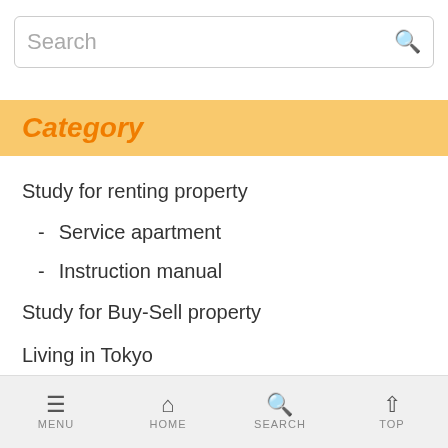Search
Category
Study for renting property
- Service apartment
- Instruction manual
Study for Buy-Sell property
Living in Tokyo
MENU  HOME  SEARCH  TOP